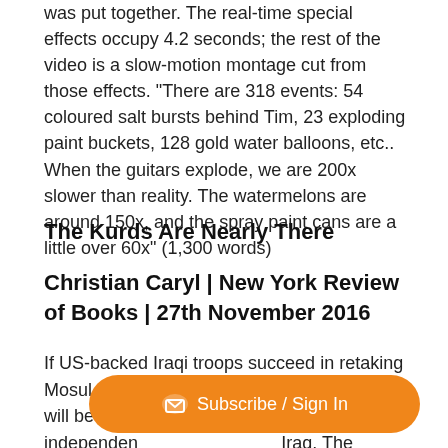was put together. The real-time special effects occupy 4.2 seconds; the rest of the video is a slow-motion montage cut from those effects. “There are 318 events: 54 coloured salt bursts behind Tim, 23 exploding paint buckets, 128 gold water balloons, etc.. When the guitars explode, we are 200x slower than reality. The watermelons are around 150x, and the spray paint cans are a little over 60x” (1,300 words)
The Kurds Are Nearly There
Christian Caryl | New York Review of Books | 27th November 2016
If US-backed Iraqi troops succeed in retaking Mosul and defeating Islamic State, the way will be open for the creation of an independent Kurdish entity in northern Iraq. The Kurdish lands in Iraq have functioned as a de facto Kurdish state for 25 years, since the end of the
[Figure (other): Orange rounded Subscribe / Sign In button with a small icon]